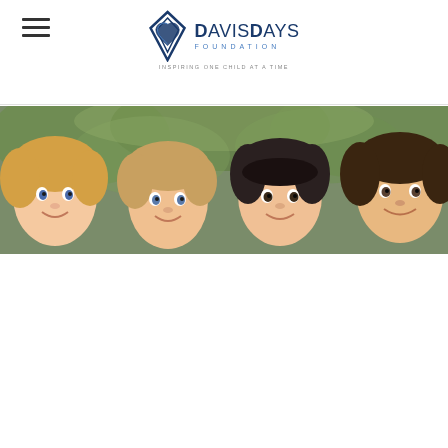DavisDays Foundation — INSPIRING ONE CHILD AT A TIME
[Figure (photo): Hero banner photograph showing four smiling children outdoors in front of green foliage, cropped to show faces and tops of heads]